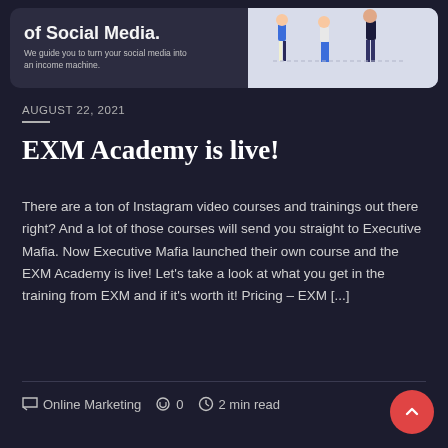[Figure (illustration): Banner with text 'of Social Media.' and subtitle 'We guide you to turn your social media into an income machine.' with illustrated figures of people walking on the right side]
AUGUST 22, 2021
EXM Academy is live!
There are a ton of Instagram video courses and trainings out there right? And a lot of those courses will send you straight to Executive Mafia. Now Executive Mafia launched their own course and the EXM Academy is live! Let's take a look at what you get in the training from EXM and if it's worth it! Pricing – EXM [...]
Online Marketing   0   2 min read